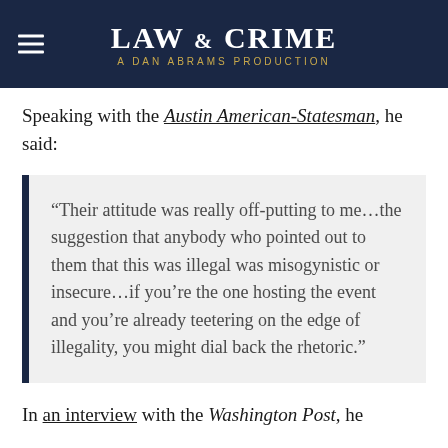LAW & CRIME — A DAN ABRAMS PRODUCTION
Speaking with the Austin American-Statesman, he said:
“Their attitude was really off-putting to me…the suggestion that anybody who pointed out to them that this was illegal was misogynistic or insecure…if you’re the one hosting the event and you’re already teetering on the edge of illegality, you might dial back the rhetoric.”
In an interview with the Washington Post, he